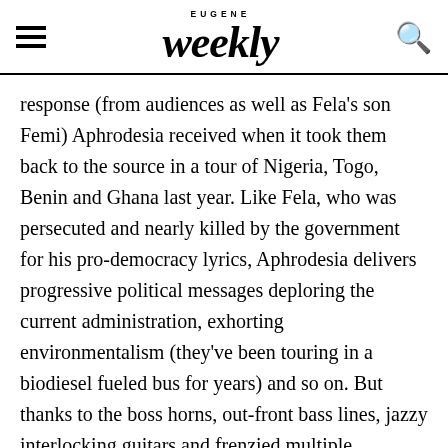EUGENE Weekly
response (from audiences as well as Fela's son Femi) Aphrodesia received when it took them back to the source in a tour of Nigeria, Togo, Benin and Ghana last year. Like Fela, who was persecuted and nearly killed by the government for his pro-democracy lyrics, Aphrodesia delivers progressive political messages deploring the current administration, exhorting environmentalism (they've been touring in a biodiesel fueled bus for years) and so on. But thanks to the boss horns, out-front bass lines, jazzy interlocking guitars and frenzied multiple percussion, you can always dance to the message.
Opening band Lunar Fire, an alter ego of Kan'Nal, adds